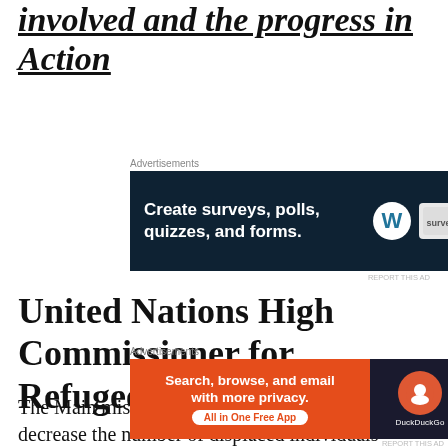involved and the progress in Action
[Figure (other): Advertisement banner: Create surveys, polls, quizzes, and forms. (WordPress ad with survey tool branding)]
United Nations High Commissioner for Refugees:
The Main mission of this organisation is to decrease the number of displaced individuals forced to flee their homes and help them
[Figure (other): Advertisement banner: Search, browse, and email with more privacy. All in One Free App — DuckDuckGo]